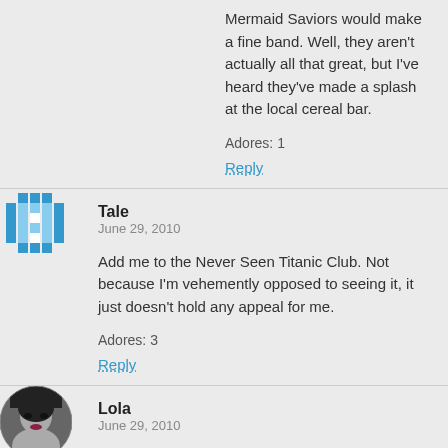Mermaid Saviors would make a fine band. Well, they aren't actually all that great, but I've heard they've made a splash at the local cereal bar.
Adores: 1
Reply
Tale
June 29, 2010
Add me to the Never Seen Titanic Club. Not because I'm vehemently opposed to seeing it, it just doesn't hold any appeal for me.
Adores: 3
Reply
Lola
June 29, 2010
There are a few of us on here – among them, myself ...